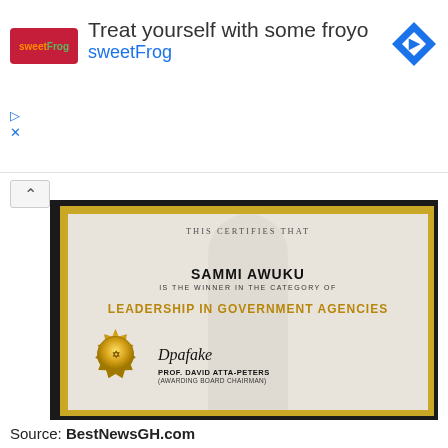[Figure (screenshot): Ad banner for sweetFrog frozen yogurt: 'Treat yourself with some froyo' with sweetFrog logo and blue diamond navigation icon]
[Figure (photo): Photo of a framed award certificate reading: 'This Certifies That SAMMI AWUKU IS THE WINNER IN THE CATEGORY OF LEADERSHIP IN GOVERNMENT AGENCIES' with a gold embossed seal and signature of PROF. DAVID ATTA-PETERS (AWARDING BOARD CHAIRMAN)]
Source: BestNewsGH.com